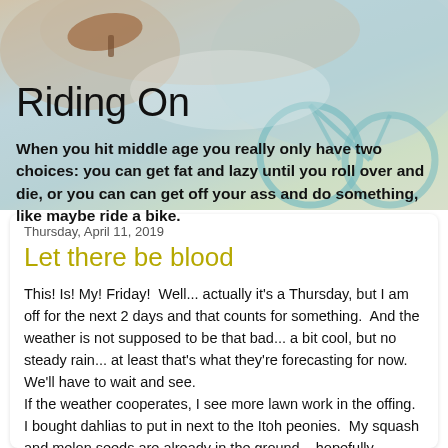[Figure (photo): Background hero photo of a bicycle with blurred teal/green frame and a brown/tan bicycle seat, with light blurred background. Blog header image.]
Riding On
When you hit middle age you really only have two choices: you can get fat and lazy until you roll over and die, or you can can get off your ass and do something, like maybe ride a bike.
Thursday, April 11, 2019
Let there be blood
This! Is! My! Friday!  Well... actually it's a Thursday, but I am off for the next 2 days and that counts for something.  And the weather is not supposed to be that bad... a bit cool, but no steady rain... at least that's what they're forecasting for now.  We'll have to wait and see.
If the weather cooperates, I see more lawn work in the offing.  I bought dahlias to put in next to the Itoh peonies.  My squash and melon seeds are already in the ground... hopefully germinating as I type.  There's also blood red